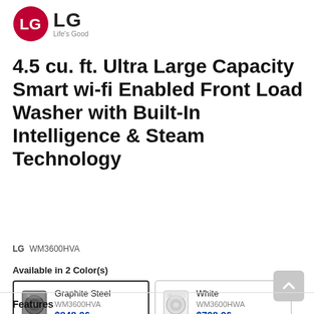[Figure (logo): LG logo (red circle with LG letters) and LG wordmark with tagline 'Life's Good']
4.5 cu. ft. Ultra Large Capacity Smart wi-fi Enabled Front Load Washer with Built-In Intelligence & Steam Technology
LG WM3600HVA
Available in 2 Color(s)
| Color | Model | Price |
| --- | --- | --- |
| Graphite Steel | WM3600HVA | $848.96 |
| White | WM3600HWA | $798.96 |
Features